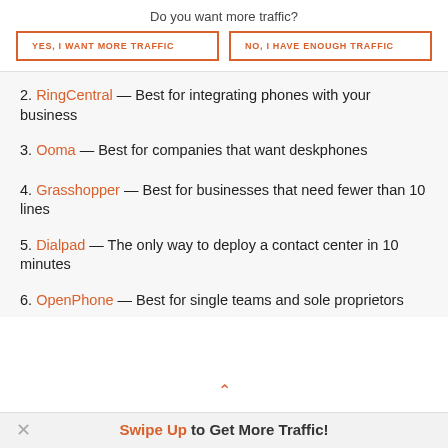Do you want more traffic?
YES, I WANT MORE TRAFFIC
NO, I HAVE ENOUGH TRAFFIC
2. RingCentral — Best for integrating phones with your business
3. Ooma — Best for companies that want deskphones
4. Grasshopper — Best for businesses that need fewer than 10 lines
5. Dialpad — The only way to deploy a contact center in 10 minutes
6. OpenPhone — Best for single teams and sole proprietors
Swipe Up to Get More Traffic!